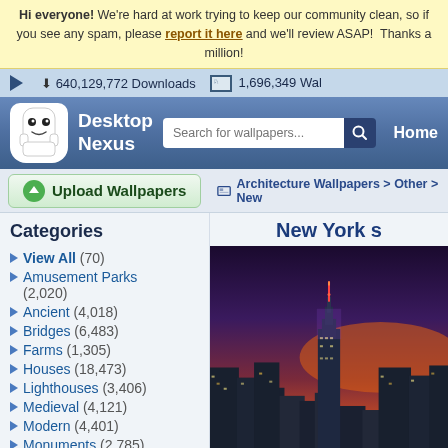Hi everyone! We're hard at work trying to keep our community clean, so if you see any spam, please report it here and we'll review ASAP! Thanks a million!
640,129,772 Downloads  1,696,349 Wallpapers
[Figure (screenshot): Desktop Nexus logo - white ghost mascot with smiley face on blue gradient header with search box and Home navigation]
Upload Wallpapers
Architecture Wallpapers > Other > New York
New York s
View All (70)
Amusement Parks (2,020)
Ancient (4,018)
Bridges (6,483)
Farms (1,305)
Houses (18,473)
Lighthouses (3,406)
Medieval (4,121)
Modern (4,401)
Monuments (2,785)
Religious (8,002)
Skyscrapers (3,833)
Other (15,581)
[Figure (photo): New York City skyline at sunset/dusk aerial photo showing skyscrapers including Empire State Building with orange and purple sky]